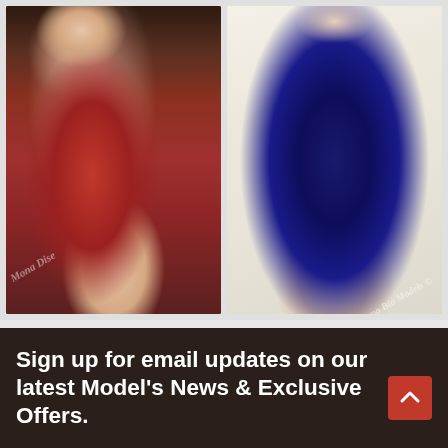[Figure (photo): Woman in red dress posed in restaurant setting, watermark 'Mona Dise' visible]
[Figure (photo): Woman in blue fringed dress outfit on white background, watermark 'Mona Bio Models' visible]
Sign up for email updates on our latest Model's News & Exclusive Offers.